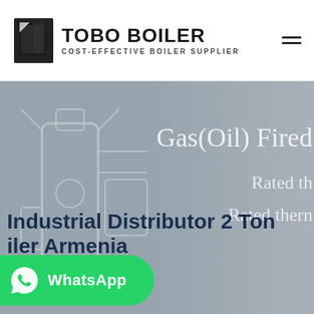[Figure (logo): TOBO BOILER logo with black geometric icon and text 'TOBO BOILER / COST-EFFECTIVE BOILER SUPPLIER']
[Figure (photo): Hero banner showing industrial boiler equipment in background with light gray overlay. Right side shows partial text 'Gas(Oil) Fired', 'Rated th...', 'Rated therm...' in light white serif font. Bottom shows bold dark blue heading 'Industrial Distributor 2 Ton ...iler Armenia'. Green WhatsApp button overlay on bottom left.]
Industrial Distributor 2 Ton Boiler Armenia